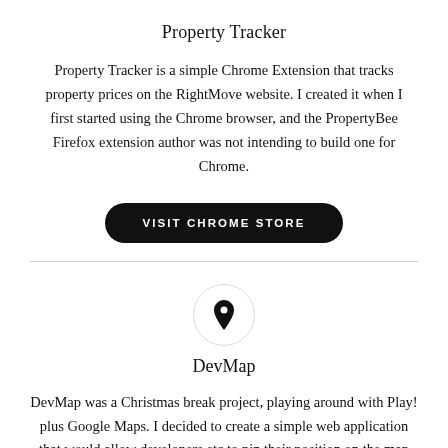Property Tracker
Property Tracker is a simple Chrome Extension that tracks property prices on the RightMove website. I created it when I first started using the Chrome browser, and the PropertyBee Firefox extension author was not intending to build one for Chrome.
VISIT CHROME STORE
[Figure (illustration): A circular icon with a map pin/location marker symbol inside, outlined by a thin grey circle.]
DevMap
DevMap was a Christmas break project, playing around with Play! plus Google Maps. I decided to create a simple web application that would allow developers etc to pin their position on the map